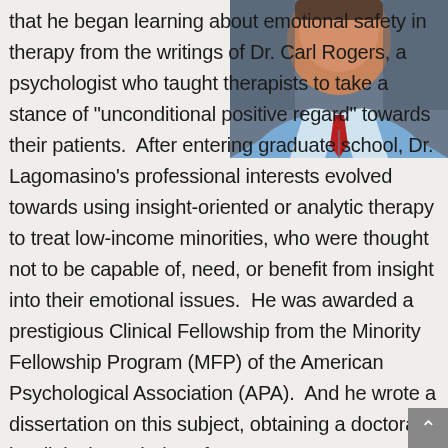[Figure (photo): Portrait photo of Dr. Lagomasino wearing a blue shirt and red tie, cropped to show face and upper chest area, positioned in upper right corner of page]
that he began learning about emotional safety in therapy from the writings of Dr. Carl Rogers, a psychologist who taught therapists to take a stance of "unconditional positive regard" towards their patients.  After entering graduate school, Dr. Lagomasino's professional interests evolved towards using insight-oriented or analytic therapy to treat low-income minorities, who were thought not to be capable of, need, or benefit from insight into their emotional issues.  He was awarded a prestigious Clinical Fellowship from the Minority Fellowship Program (MFP) of the American Psychological Association (APA).  And he wrote a dissertation on this subject, obtaining a doctorate in Clinical Psychology from Nova